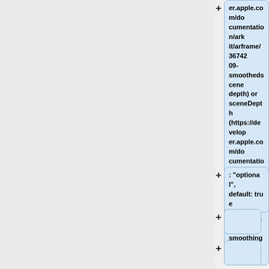er.apple.com/documentation/arkit/arframe/3674209-smoothedscenedepth) or sceneDepth (https://developer.apple.com/documentation/arkit/arframe/3566299-scenedepth), employing ARkits smoothing or not.
: "optional", default: true